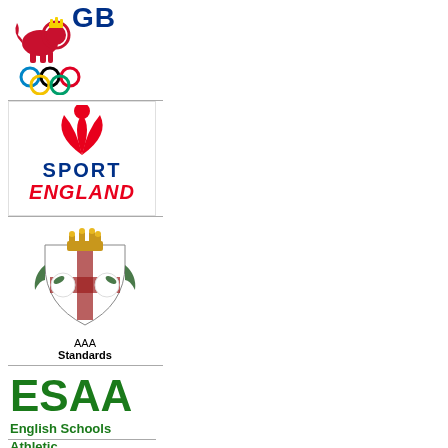[Figure (logo): Team GB logo with British Olympic Association branding — lion figure, GB text, and Olympic rings]
[Figure (logo): Sport England logo — red abstract figure with three petal shapes above bold red and blue text reading SPORT ENGLAND]
[Figure (logo): AAA Standards logo — heraldic shield with crown, cross, and roses, with text AAA Standards below]
[Figure (logo): ESAA English Schools Athletic Association logo — large green ESAA letters with full name below]